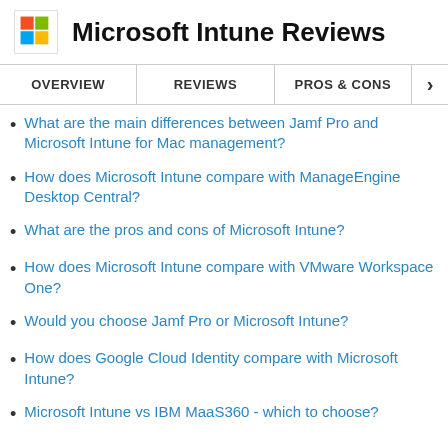Microsoft Intune Reviews
What are the main differences between Jamf Pro and Microsoft Intune for Mac management?
How does Microsoft Intune compare with ManageEngine Desktop Central?
What are the pros and cons of Microsoft Intune?
How does Microsoft Intune compare with VMware Workspace One?
Would you choose Jamf Pro or Microsoft Intune?
How does Google Cloud Identity compare with Microsoft Intune?
Microsoft Intune vs IBM MaaS360 - which to choose?